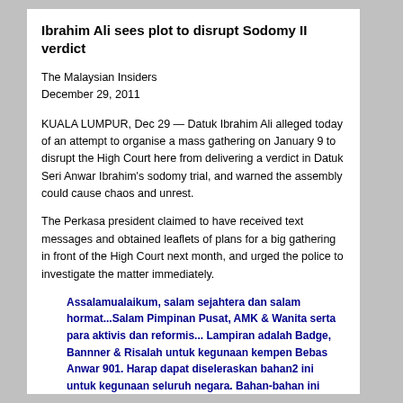Ibrahim Ali sees plot to disrupt Sodomy II verdict
The Malaysian Insiders
December 29, 2011
KUALA LUMPUR, Dec 29 — Datuk Ibrahim Ali alleged today of an attempt to organise a mass gathering on January 9 to disrupt the High Court here from delivering a verdict in Datuk Seri Anwar Ibrahim's sodomy trial, and warned the assembly could cause chaos and unrest.
The Perkasa president claimed to have received text messages and obtained leaflets of plans for a big gathering in front of the High Court next month, and urged the police to investigate the matter immediately.
Assalamualaikum, salam sejahtera dan salam hormat...Salam Pimpinan Pusat, AMK & Wanita serta para aktivis dan reformis... Lampiran adalah Badge, Bannner & Risalah untuk kegunaan kempen Bebas Anwar 901. Harap dapat diseleraskan bahan2 ini untuk kegunaan seluruh negara. Bahan-bahan ini adalah hasil perbincangan bersama "Sekretariat Gerakan Bebas Anwar 901" yang diketuai oleh Sdr. Shamsul Iskandar, Ketua AMK dan dianggotai oleh rakan2 pimpinan utama parti, Wanita, AMK, Negeri-negeri, NGO, Aktivis dan gerakan reformis 98... Harap dapat diedarkan dan diseleraskan.... Mohon semua SUK-SUK Negeri edarkan kepada MPN masing2.. Semoga kempen ini dapat digerakkan selaras seluruh negara..